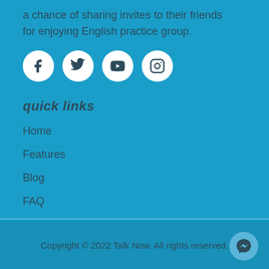a chance of sharing invites to their friends for enjoying English practice group.
[Figure (infographic): Four social media icons in white circles: Facebook, Twitter, YouTube, Instagram]
quick links
Home
Features
Blog
FAQ
Copyright © 2022 Talk Now. All rights reserved.